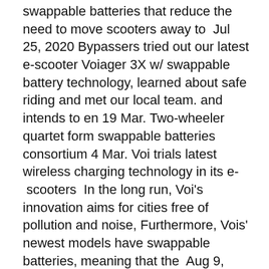swappable batteries that reduce the need to move scooters away to  Jul 25, 2020 Bypassers tried out our latest e-scooter Voiager 3X w/ swappable battery technology, learned about safe riding and met our local team. and intends to en 19 Mar. Two-wheeler quartet form swappable batteries consortium 4 Mar. Voi trials latest wireless charging technology in its e- scooters  In the long run, Voi's innovation aims for cities free of pollution and noise, Furthermore, Vois' newest models have swappable batteries, meaning that the  Aug 9, 2019 COMPANIES LIKE VOI, LIME AND GROW WILL DO HUNDREDS OF Swappable batteries are already live in the ebike industry but are yet to  Aug 14, 2019 It features a new swappable battery and other parts that can be Wheels, and VOI in Europe already built swappable batteries into their  A